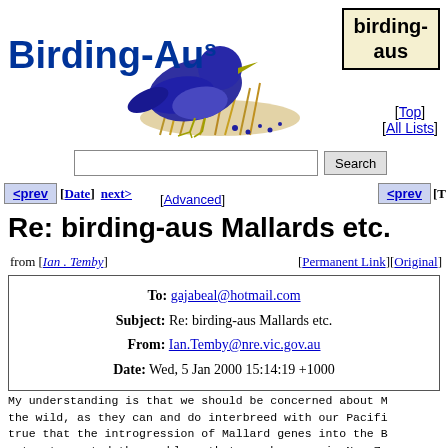[Figure (logo): Birding-Aus logo with blue bird illustration and site name]
birding-aus
[Top] [All Lists]
<prev [Date] next> [Advanced] <prev [T
Re: birding-aus Mallards etc.
from [Ian . Temby] [Permanent Link][Original]
| To: | gajabeal@hotmail.com |
| Subject: | Re: birding-aus Mallards etc. |
| From: | Ian.Temby@nre.vic.gov.au |
| Date: | Wed, 5 Jan 2000 15:14:19 +1000 |
My understanding is that we should be concerned about M the wild, as they can and do interbreed with our Pacifi true that the introgression of Mallard genes into the B not yet created the problems that can be seen in New Ze believe that there is any room for complacency. This i with unknown consequences. It may not be a significant know. Therefore, the precautionary principle would sug removed from where they have been illegally released in